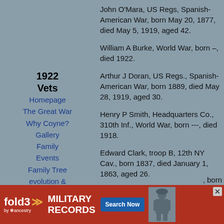John O'Mara, US Regs, Spanish-American War, born May 20, 1877, died May 5, 1919, aged 42.
1922 Vets
William A Burke, World War, born –, died 1922.
Arthur J Doran, US Regs., Spanish-American War, born 1889, died May 28, 1919, aged 30.
Henry P Smith, Headquarters Co., 310th Inf., World War, born ---, died 1918.
Edward Clark, troop B, 12th NY Cav., born 1837, died January 1, 1863, aged 26.
James Donnelly, Co. I, 146th NY Vol., born 1832, died April 23, 1883, aged 51.
John Doyle, Co. E, 117th NY Vol., born 1829, died July 26, 1892, aged 63.
Homepage
The Great War
Why Coyne?
Gallery
Family
Events
Family Tree
evolution & 1812
Links
Contact me
My Blog
[Figure (infographic): Fold3 military records advertisement banner with red background, fold3 logo with ancestry branding, 'MILITARY RECORDS' text, 'Search Now' blue button, and soldier photo.]